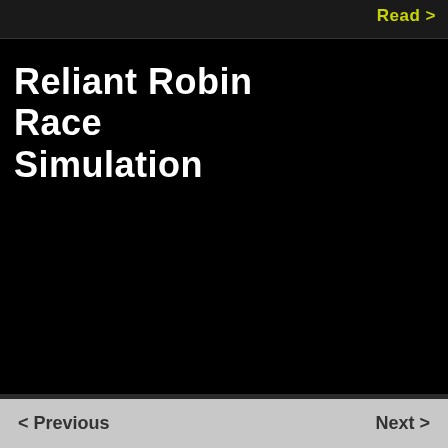Read >
Reliant Robin Race Simulation
< Previous   Next >